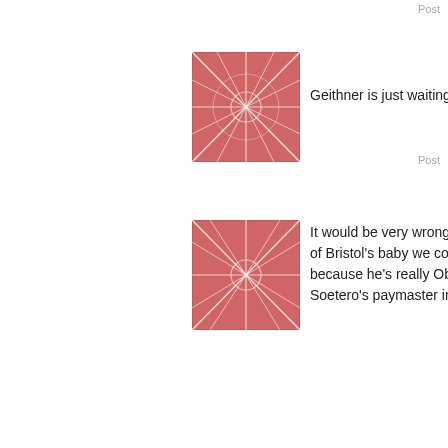Post
[Figure (illustration): Pink/red abstract web pattern avatar icon]
Geithner is just waiting for the
Post
[Figure (illustration): Pink/red abstract web pattern avatar icon]
It would be very wrong, I know of Bristol's baby we could sug because he's really Obama's Soetero's paymaster in Pahk
[Figure (illustration): Blue wavy lines pattern avatar icon]
"Hey! Mr. Teleprompter, read I'm not sleepy and there is no Hey! Mr. Teleprompter, make In the jingle jangle morning I'l
[Figure (illustration): Green geometric/grid pattern avatar icon]
Clarice:
Hit, we run TM for Dodd's sea
Well, Glenn has been hamme